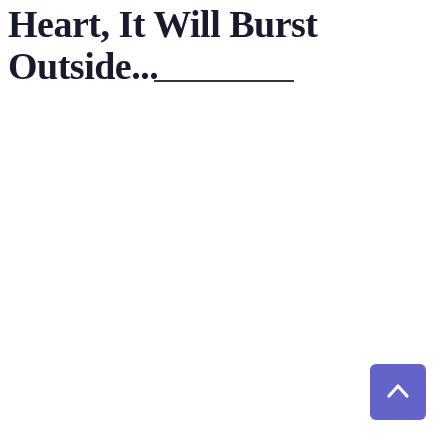Heart, It Will Burst Outside...
[Figure (other): Back to top button — a purple/indigo rounded square button with a white upward-pointing chevron arrow]